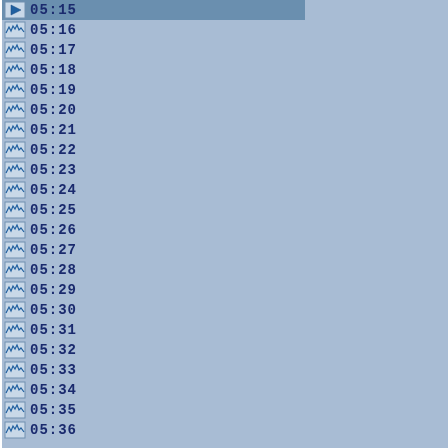05:15 (active/playing)
05:16
05:17
05:18
05:19
05:20
05:21
05:22
05:23
05:24
05:25
05:26
05:27
05:28
05:29
05:30
05:31
05:32
05:33
05:34
05:35
05:36